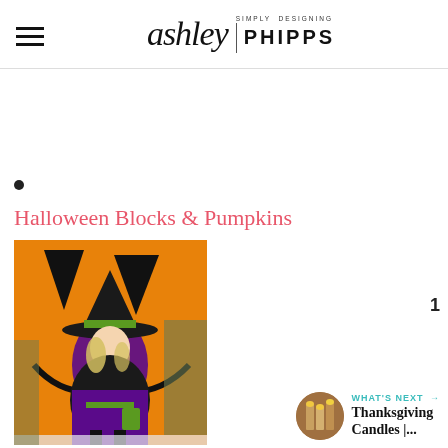Simply Designing ashley | PHIPPS
•
Halloween Blocks & Pumpkins
[Figure (photo): A young girl dressed as a witch in a purple and black costume with a green-trimmed hat, standing in front of a large orange pumpkin decoration.]
[Figure (other): Heart (favorite) button showing count of 1, and a share button below it]
WHAT'S NEXT → Thanksgiving Candles |...